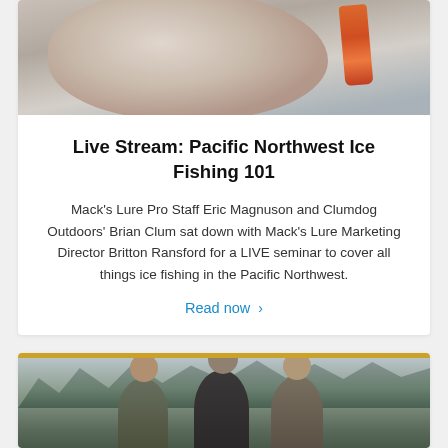[Figure (photo): Close-up photo of a fish being held with an orange fishing lure visible, held by a person in a grey sleeve]
Live Stream: Pacific Northwest Ice Fishing 101
Mack's Lure Pro Staff Eric Magnuson and Clumdog Outdoors' Brian Clum sat down with Mack's Lure Marketing Director Britton Ransford for a LIVE seminar to cover all things ice fishing in the Pacific Northwest.
Read now >
[Figure (photo): Three people standing outdoors near a body of water with trees in the background on an overcast day]